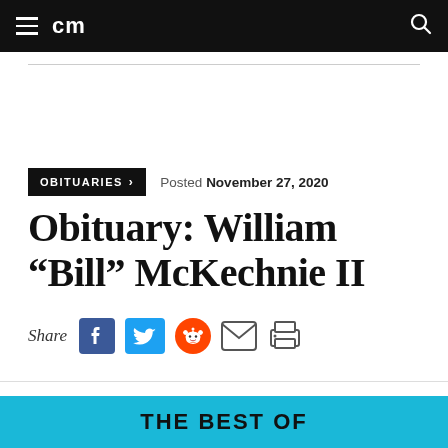cm
OBITUARIES > | Posted November 27, 2020
Obituary: William “Bill” McKechnie II
Share
THE BEST OF